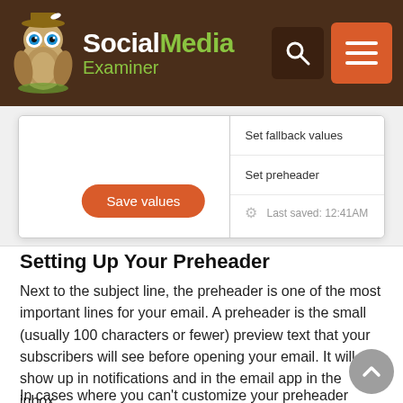Social Media Examiner
[Figure (screenshot): Screenshot of an email editor interface showing a dropdown menu with 'Set fallback values', 'Set preheader', and 'Last saved: 12:41AM' options, plus an orange 'Save values' button]
Setting Up Your Preheader
Next to the subject line, the preheader is one of the most important lines for your email. A preheader is the small (usually 100 characters or fewer) preview text that your subscribers will see before opening your email. It will show up in notifications and in the email app in the inbox.
In cases where you can't customize your preheader